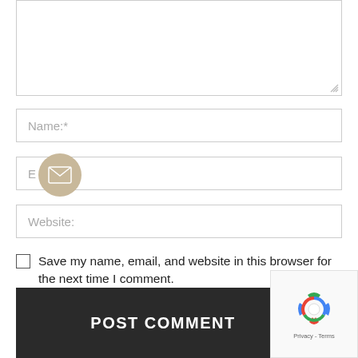[Figure (screenshot): Textarea input box (comment field) at top of page, partially visible with resize handle at bottom right]
Name:*
Email:*
[Figure (illustration): Circular tan/beige email envelope icon overlapping the Email input field]
Website:
Save my name, email, and website in this browser for the next time I comment.
POST COMMENT
[Figure (logo): Google reCAPTCHA widget in bottom right corner showing spinning arrows logo and Privacy - Terms text]